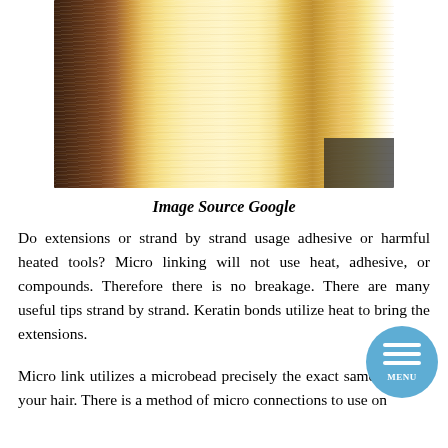[Figure (photo): Close-up photo of long straight blonde/highlighted hair against dark background]
Image Source Google
Do extensions or strand by strand usage adhesive or harmful heated tools? Micro linking will not use heat, adhesive, or compounds. Therefore there is no breakage. There are many useful tips strand by strand. Keratin bonds utilize heat to bring the extensions.
Micro link utilizes a microbead precisely the exact same color as your hair. There is a method of micro connections to use on